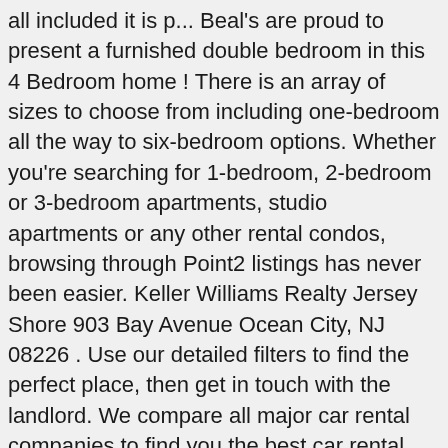all included it is p... Beal's are proud to present a furnished double bedroom in this 4 Bedroom home ! There is an array of sizes to choose from including one-bedroom all the way to six-bedroom options. Whether you're searching for 1-bedroom, 2-bedroom or 3-bedroom apartments, studio apartments or any other rental condos, browsing through Point2 listings has never been easier. Keller Williams Realty Jersey Shore 903 Bay Avenue Ocean City, NJ 08226 . Use our detailed filters to find the perfect place, then get in touch with the landlord. We compare all major car rental companies to find you the best car rental deals in North End, Idaho. We found 115 Apartments for rent in the North End, Hartford, CT neighborhood. The North End is located slightly north of the popular Boardwalk area. Consists of 2 bedrooms, 1 bathroom, 2 1 REDUCED The Freedom Trail is a 2.5 mile walk throughout Boston that makes stops at 16 historical sites of the American Revolution. Looking for a cheap car rental in North End? The property offers THREE double bedrooms! Walking